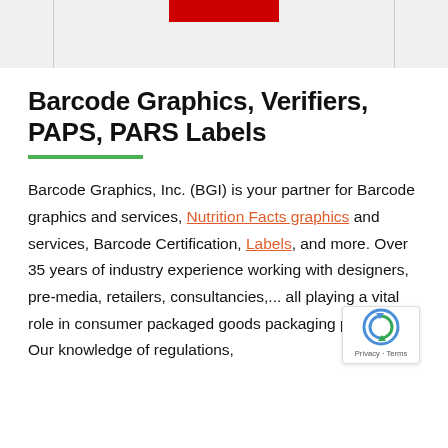[Figure (other): Top banner area with a red rectangular bar on a light gray background]
Barcode Graphics, Verifiers, PAPS, PARS Labels
Barcode Graphics, Inc. (BGI) is your partner for Barcode graphics and services, Nutrition Facts graphics and services, Barcode Certification, Labels, and more. Over 35 years of industry experience working with designers, pre-media, retailers, consultancies,... all playing a vital role in consumer packaged goods packaging production. Our knowledge of regulations,